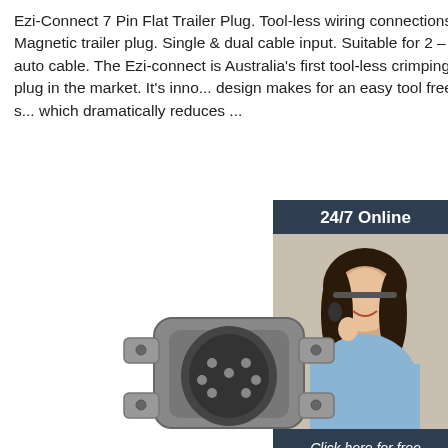Ezi-Connect 7 Pin Flat Trailer Plug. Tool-less wiring connections. Magnetic trailer plug. Single & dual cable input. Suitable for 2 – 2.5mm auto cable. The Ezi-connect is Australia's first tool-less crimping trailer plug in the market. It's innovative design makes for an easy tool free wiring solution which dramatically reduces ...
[Figure (infographic): 24/7 online chat widget with woman wearing headset, dark navy background, 'Click here for free chat!' text, orange QUOTATION button]
Get Price
[Figure (photo): Ezi-Connect 7 pin flat trailer plug product photo, metallic grey connector with mounting flange]